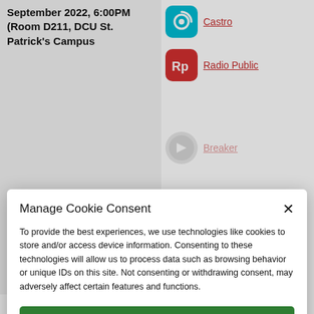September 2022, 6:00PM (Room D211, DCU St. Patrick's Campus
[Figure (logo): Castro podcast app icon - teal circular icon]
Castro
[Figure (logo): Radio Public podcast app icon - red square icon with Rp letters]
Radio Public
[Figure (logo): Breaker podcast app icon - faded]
Breaker
[Figure (logo): Podcast Berry app icon - faded blue]
berry
View all upcoming IPSC events →
[Figure (logo): Podcast Addict app icon - faded orange]
Podcast Addict
[Figure (logo): Podbean app icon - faded]
Podbean
[Figure (logo): Podcast Republic app icon - faded]
Podcast Republic
Manage Cookie Consent
To provide the best experiences, we use technologies like cookies to store and/or access device information. Consenting to these technologies will allow us to process data such as browsing behavior or unique IDs on this site. Not consenting or withdrawing consent, may adversely affect certain features and functions.
Accept
Deny
View preferences
Cookie Policy